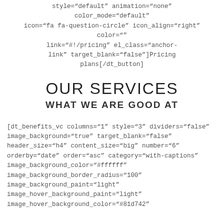style="default" animation="none" color_mode="default" icon="fa fa-question-circle" icon_align="right" color="" link="#!/pricing" el_class="anchor-link" target_blank="false"]Pricing plans[/dt_button]
OUR SERVICES
WHAT WE ARE GOOD AT
[dt_benefits_vc columns="1" style="3" dividers="false" image_background="true" target_blank="false" header_size="h4" content_size="big" number="6" orderby="date" order="asc" category="with-captions" image_background_color="#ffffff" image_background_border_radius="100" image_background_paint="light" image_hover_background_paint="light" image_hover_background_color="#81d742"